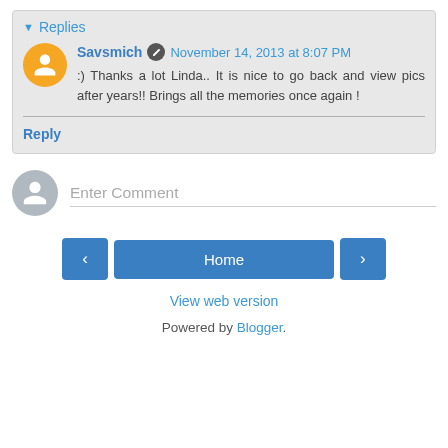Replies
Savsmich  November 14, 2013 at 8:07 PM
:) Thanks a lot Linda.. It is nice to go back and view pics after years!! Brings all the memories once again !
Reply
Enter Comment
Home
View web version
Powered by Blogger.